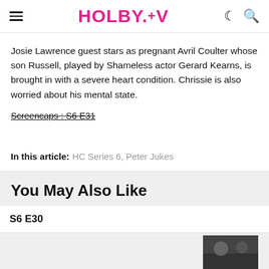HOLBY.TV
Josie Lawrence guest stars as pregnant Avril Coulter whose son Russell, played by Shameless actor Gerard Kearns, is brought in with a severe heart condition. Chrissie is also worried about his mental state.
Screencaps : S6 E31
In this article: HC Series 6, Peter Jukes
You May Also Like
S6 E30